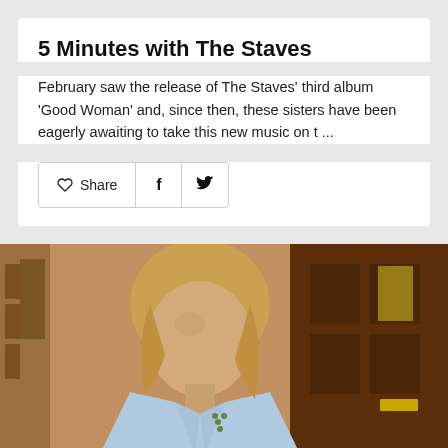5 Minutes with The Staves
February saw the release of The Staves' third album 'Good Woman' and, since then, these sisters have been eagerly awaiting to take this new music on t ...
[Figure (other): Share button bar with heart/like icon, Share text, Facebook f icon, and Twitter bird icon, inside a bordered rounded rectangle]
[Figure (photo): Vintage-toned photograph of a young person with shoulder-length blonde hair wearing a light blue embroidered shirt, standing in front of dark wooden doors/building exterior]